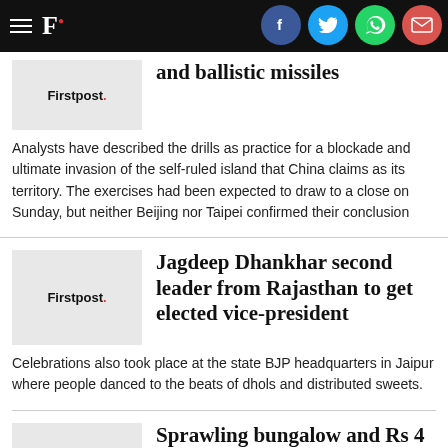Firstpost. [navigation with Facebook, Twitter, WhatsApp, Email share icons]
and ballistic missiles
Analysts have described the drills as practice for a blockade and ultimate invasion of the self-ruled island that China claims as its territory. The exercises had been expected to draw to a close on Sunday, but neither Beijing nor Taipei confirmed their conclusion
Jagdeep Dhankhar second leader from Rajasthan to get elected vice-president
Celebrations also took place at the state BJP headquarters in Jaipur where people danced to the beats of dhols and distributed sweets.
Sprawling bungalow and Rs 4 lakh salary: How Jagdeep Dhankhar's life will change as Vice President of India